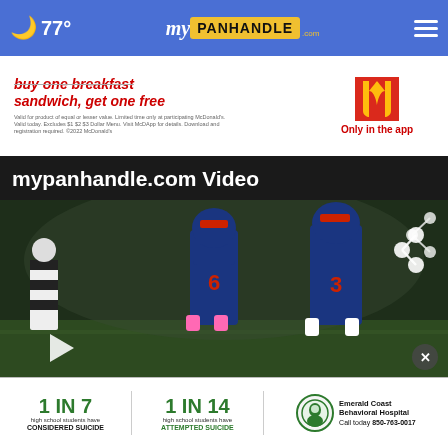77° mypanhandle.com
[Figure (photo): McDonald's advertisement: buy one breakfast sandwich, get one free. Only in the app.]
mypanhandle.com Video
[Figure (photo): Football players in blue uniforms on a dark field at night with a referee nearby]
1 IN 7 high school students have CONSIDERED SUICIDE | 1 IN 14 high school students have ATTEMPTED SUICIDE | Emerald Coast Behavioral Hospital Call today 850-763-0017